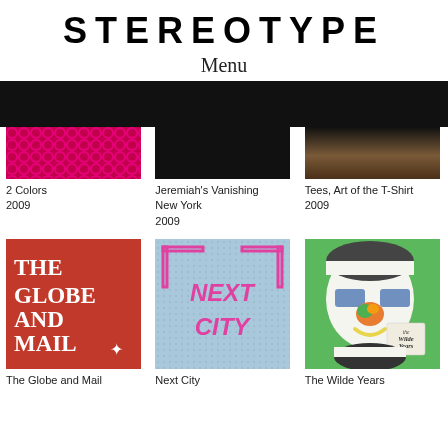STEREOTYPE
Menu
[Figure (illustration): Thumbnail image for 2 Colors, pink/red patterned design]
2 Colors
2009
[Figure (illustration): Thumbnail image for Jeremiah's Vanishing New York, dark/black cover]
Jeremiah's Vanishing New York
2009
[Figure (illustration): Thumbnail image for Tees, Art of the T-Shirt, dark textured cover]
Tees, Art of the T-Shirt
2009
[Figure (illustration): Red book cover: THE GLOBE AND MAIL with maple leaf]
The Globe and Mail
[Figure (illustration): Light blue cover with pink NEXT CITY text logo]
Next City
[Figure (illustration): Green cover with illustrated face, The Wilde Years]
The Wilde Years